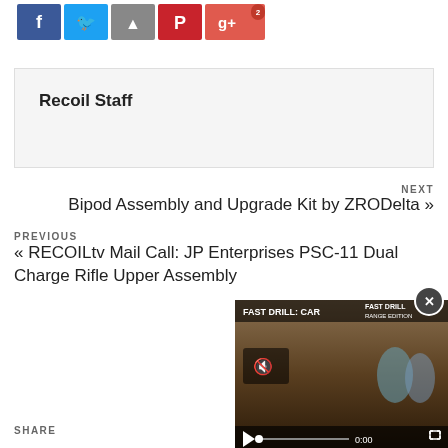[Figure (other): Social media share buttons: Facebook (blue), Twitter (light blue), share arrow (gray), Pinterest (red), Google+ (orange-red) with count badge showing 2]
Recoil Staff
NEXT
Bipod Assembly and Upgrade Kit by ZRODelta »
PREVIOUS
« RECOILtv Mail Call: JP Enterprises PSC-11 Dual Charge Rifle Upper Assembly
SHARE
[Figure (screenshot): Embedded video player overlay showing 'FAST DRILL: CAR...' with FAST DRILL RANGE EDITION branding, mute button, play button, progress bar at 0:00, and fullscreen button. Close button (x) visible top right.]